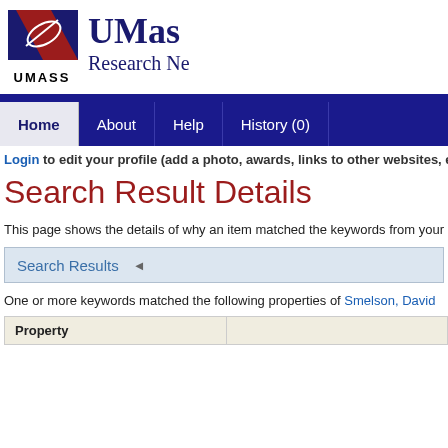[Figure (logo): UMass logo with red and navy shield/quill design, UMASS text below]
UMass Research Ne
Home | About | Help | History (0)
Login to edit your profile (add a photo, awards, links to other websites, e
Search Result Details
This page shows the details of why an item matched the keywords from your s
Search Results
One or more keywords matched the following properties of Smelson, David
| Property |  |
| --- | --- |